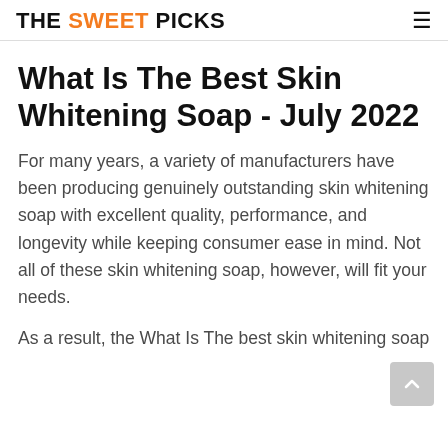THE SWEET PICKS
What Is The Best Skin Whitening Soap - July 2022
For many years, a variety of manufacturers have been producing genuinely outstanding skin whitening soap with excellent quality, performance, and longevity while keeping consumer ease in mind. Not all of these skin whitening soap, however, will fit your needs.
As a result, the What Is The best skin whitening soap